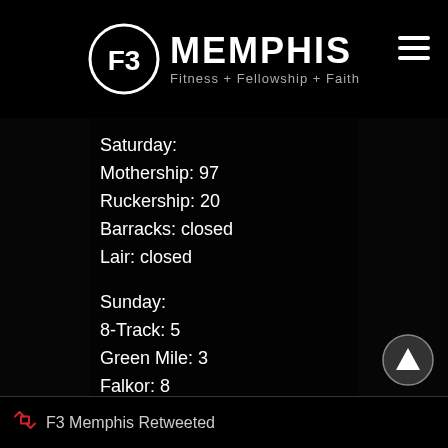F3 MEMPHIS Fitness + Fellowship + Faith
Saturday:
Mothership: 97
Ruckership: 20
Barracks: closed
Lair: closed
Sunday:
8-Track: 5
Green Mile: 3
Falkor: 8
Armory: 4
#F3counts #MemphisRules #MemphisMojo
Twitter
F3 Memphis Retweeted